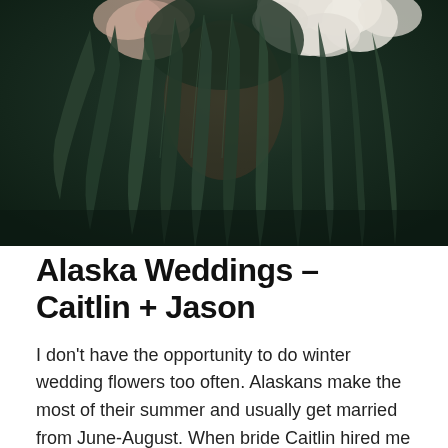[Figure (photo): Close-up photo of a floral arrangement with white hydrangeas and long dark green eucalyptus/willow leaves hanging down against a dark background]
Alaska Weddings – Caitlin + Jason
I don't have the opportunity to do winter wedding flowers too often. Alaskans make the most of their summer and usually get married from June-August. When bride Caitlin hired me for her January wedding I was thrilled. She